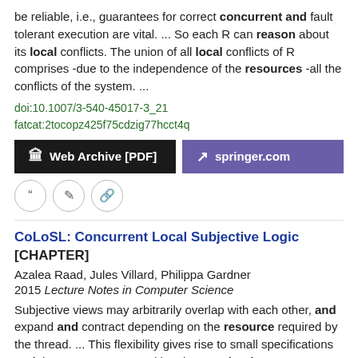be reliable, i.e., guarantees for correct concurrent and fault tolerant execution are vital.  ...  So each R can reason about its local conflicts. The union of all local conflicts of R comprises -due to the independence of the resources -all the conflicts of the system.  ...
doi:10.1007/3-540-45017-3_21
fatcat:2tocopz425f75cdzig77hcct4q
[Figure (other): Two buttons: 'Web Archive [PDF]' (black background) and 'springer.com' (purple background)]
[Figure (other): Three circular icon buttons: quote, edit, and link]
CoLoSL: Concurrent Local Subjective Logic [CHAPTER]
Azalea Raad, Jules Villard, Philippa Gardner
2015 Lecture Notes in Computer Science
Subjective views may arbitrarily overlap with each other, and expand and contract depending on the resource required by the thread.  ...  This flexibility gives rise to small specifications and, hence, more compositional reasoning for concurrent programs.  ... This research was funded by EPSRC grants K008528/1 and H008373/2.  ...
doi:10.1007/978-3-662-46669-8_29